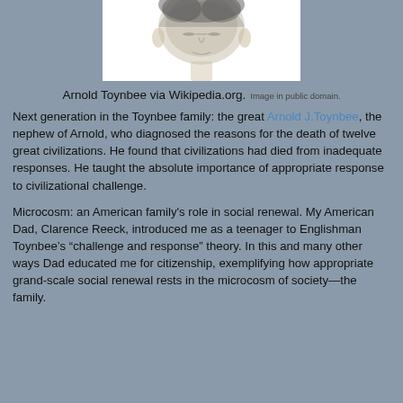[Figure (photo): Black and white sketch/photograph of Arnold Toynbee, partially visible at the top of the page, showing the upper portion of a person's face and head.]
Arnold Toynbee via Wikipedia.org.  Image in public domain.
Next generation in the Toynbee family: the great Arnold J.Toynbee, the nephew of Arnold, who diagnosed the reasons for the death of twelve great civilizations. He found that civilizations had died from inadequate responses. He taught the absolute importance of appropriate response to civilizational challenge.
Microcosm: an American family's role in social renewal. My American Dad, Clarence Reeck, introduced me as a teenager to Englishman Toynbee’s “challenge and response” theory. In this and many other ways Dad educated me for citizenship, exemplifying how appropriate grand-scale social renewal rests in the microcosm of society—the family.